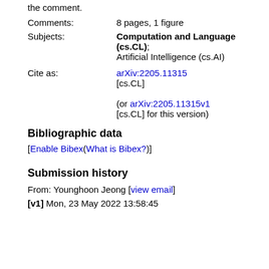the comment.
Comments: 8 pages, 1 figure
Subjects: Computation and Language (cs.CL); Artificial Intelligence (cs.AI)
Cite as: arXiv:2205.11315 [cs.CL] (or arXiv:2205.11315v1 [cs.CL] for this version)
Bibliographic data
[Enable Bibex(What is Bibex?)]
Submission history
From: Younghoon Jeong [view email]
[v1] Mon, 23 May 2022 13:58:45